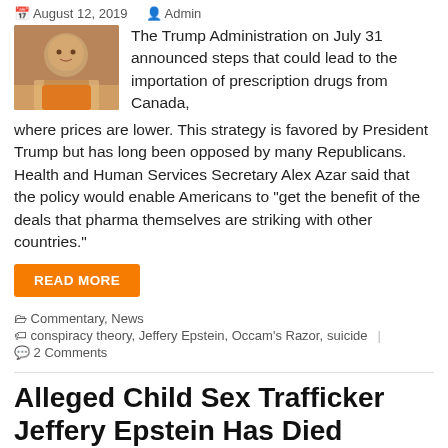August 12, 2019   Admin
The Trump Administration on July 31 announced steps that could lead to the importation of prescription drugs from Canada, where prices are lower. This strategy is favored by President Trump but has long been opposed by many Republicans. Health and Human Services Secretary Alex Azar said that the policy would enable Americans to "get the benefit of the deals that pharma themselves are striking with other countries."
READ MORE
Commentary, News   conspiracy theory, Jeffery Epstein, Occam's Razor, suicide   2 Comments
Alleged Child Sex Trafficker Jeffery Epstein Has Died
August 10, 2019   Admin